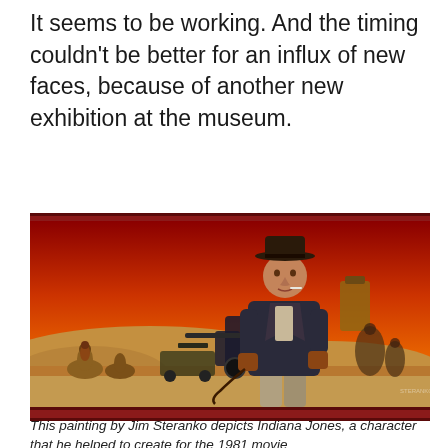It seems to be working. And the timing couldn't be better for an influx of new faces, because of another new exhibition at the museum.
[Figure (illustration): A painting by Jim Steranko depicting Indiana Jones standing in a desert scene with a leather jacket and hat, holding a whip, with vehicles and riders on camels in the background against an orange-red sky.]
This painting by Jim Steranko depicts Indiana Jones, a character that he helped to create for the 1981 movie